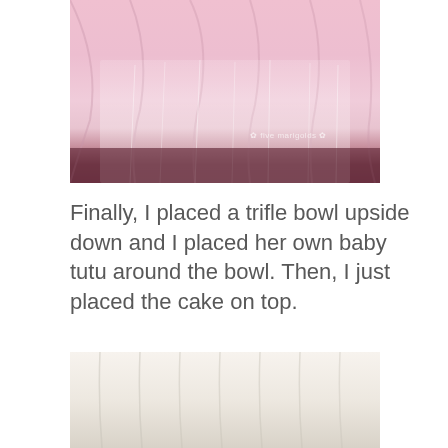[Figure (photo): Pink fabric draped table skirt with white tulle overlay, viewed from ground level showing dark wood floor underneath. A watermark reading 'five marigolds' is visible in the lower right of the image.]
Finally, I placed a trifle bowl upside down and I placed her own baby tutu around the bowl. Then, I just placed the cake on top.
[Figure (photo): White/cream fabric draped table skirt, bottom portion visible only, showing soft white fabric folds.]